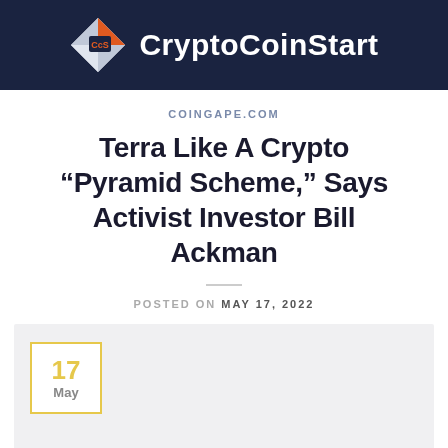CryptoCoinStart
COINGAPE.COM
Terra Like A Crypto “Pyramid Scheme,” Says Activist Investor Bill Ackman
POSTED ON MAY 17, 2022
[Figure (infographic): Date badge showing 17 May inside a yellow-bordered box on a gray background card]